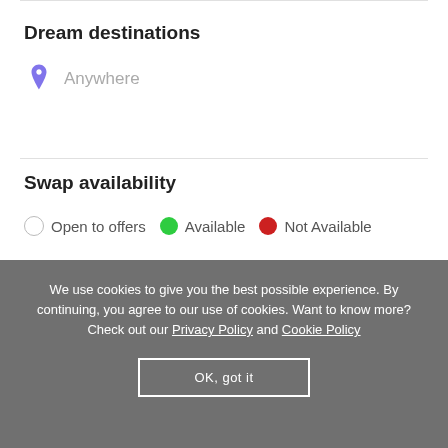Dream destinations
Anywhere
Swap availability
Open to offers   Available   Not Available
September 2022
We use cookies to give you the best possible experience. By continuing, you agree to our use of cookies. Want to know more? Check out our Privacy Policy and Cookie Policy
OK, got it